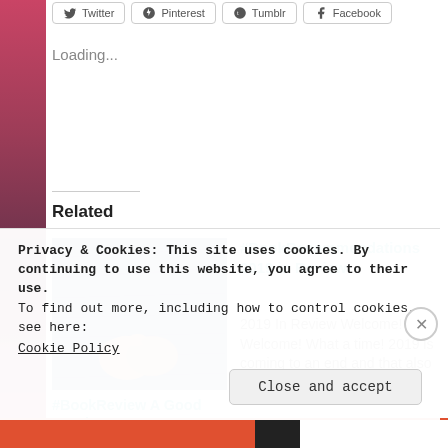[Figure (screenshot): Social share buttons row: Twitter, Pinterest, Tumblr, Facebook]
Loading...
Related
[Figure (photo): Photo of two people holding hands, wearing jeans]
#BookReview A Good Man by Rosanna Leo
#BookRecommendations 2019 in Review
2019 In Review Welcome! Welcome! What a time! 2019 is coming to an end and that also brings the
Privacy & Cookies: This site uses cookies. By continuing to use this website, you agree to their use.
To find out more, including how to control cookies, see here:
Cookie Policy
Close and accept